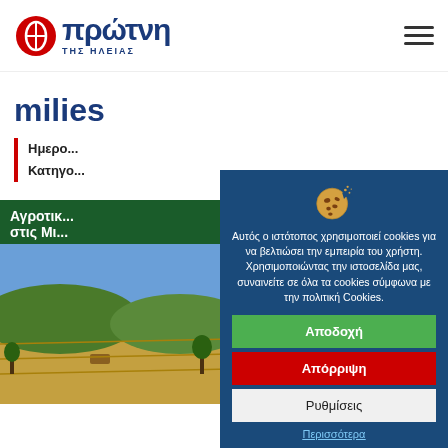Πρώτη της Ηλείας
milies
Ημερομηνία
Κατηγορία
Αγροτι... στις Μι...
[Figure (screenshot): Cookie consent dialog with cookie illustration on dark blue background, showing accept (green), reject (red), and settings (grey) buttons with Greek text.]
Αυτός ο ιστότοπος χρησιμοποιεί cookies για να βελτιώσει την εμπειρία του χρήστη. Χρησιμοποιώντας την ιστοσελίδα μας, συναινείτε σε όλα τα cookies σύμφωνα με την πολιτική Cookies.
Αποδοχή
Απόρριψη
Ρυθμίσεις
Περισσότερα